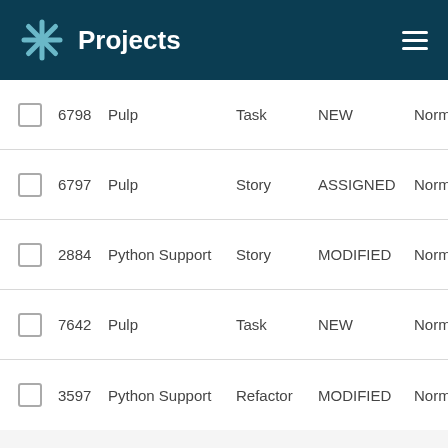Projects
6798  Pulp  Task  NEW  Normal
6797  Pulp  Story  ASSIGNED  Normal
2884  Python Support  Story  MODIFIED  Normal
7642  Pulp  Task  NEW  Normal
3597  Python Support  Refactor  MODIFIED  Normal